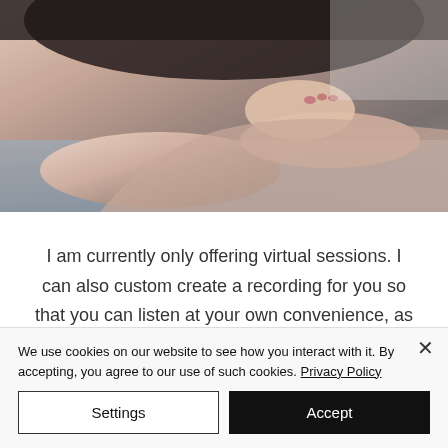[Figure (photo): A person resting their head on their arms, dark hair visible, lying on a grey surface. Cropped photo showing arms, hands and hair.]
I am currently only offering virtual sessions. I can also custom create a recording for you so that you can listen at your own convenience, as often as you would like.
We use cookies on our website to see how you interact with it. By accepting, you agree to our use of such cookies. Privacy Policy